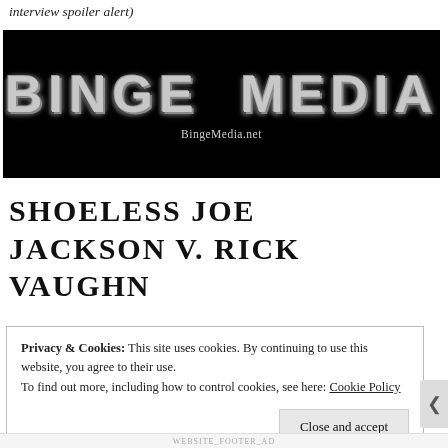interview spoiler alert)
[Figure (logo): Binge Media logo — large stylized text 'BINGE MEDIA' in a distressed/jagged font on a black background, with 'BingeMedia.net' in smaller text below]
SHOELESS JOE JACKSON V. RICK VAUGHN
Privacy & Cookies: This site uses cookies. By continuing to use this website, you agree to their use.
To find out more, including how to control cookies, see here: Cookie Policy
Close and accept